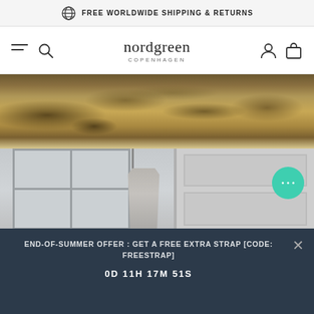FREE WORLDWIDE SHIPPING & RETURNS
nordgreen COPENHAGEN
[Figure (photo): Overhead view of dry grass or heath landscape, brown and golden tones]
[Figure (photo): Interior room scene with window panes and a garment hanging on a hook beside a door]
END-OF-SUMMER OFFER : GET A FREE EXTRA STRAP [CODE: FREESTRAP]
0D 11H 17M 51S